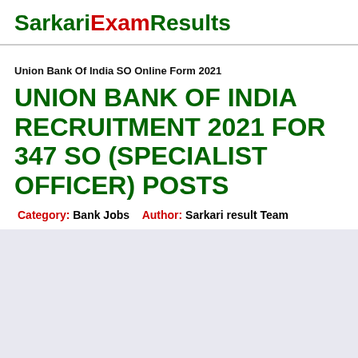SarkariExamResults
Union Bank Of India SO Online Form 2021
UNION BANK OF INDIA RECRUITMENT 2021 FOR 347 SO (SPECIALIST OFFICER) POSTS
Category: Bank Jobs   Author: Sarkari result Team
[Figure (other): Advertisement/placeholder block with light grey-blue background]